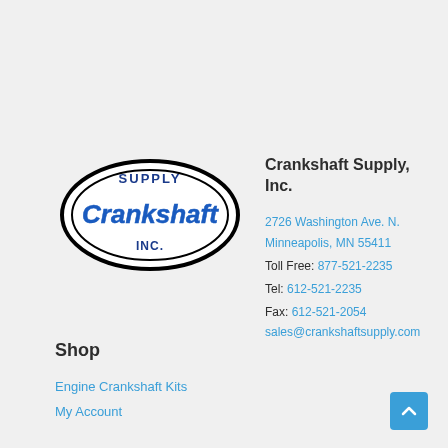[Figure (logo): Crankshaft Supply Inc. oval logo with blue script text 'Crankshaft' and 'Supply' and 'Inc.' on black oval outline]
Crankshaft Supply, Inc.
2726 Washington Ave. N.
Minneapolis, MN 55411
Toll Free: 877-521-2235
Tel: 612-521-2235
Fax: 612-521-2054
sales@crankshaftsupply.com
Shop
Engine Crankshaft Kits
My Account